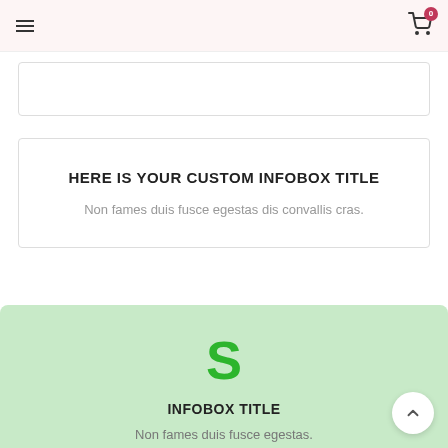≡  [cart icon] 0
[Figure (screenshot): Partial white bordered box at top of content area]
HERE IS YOUR CUSTOM INFOBOX TITLE
Non fames duis fusce egestas dis convallis cras.
INFOBOX TITLE
Non fames duis fusce egestas.